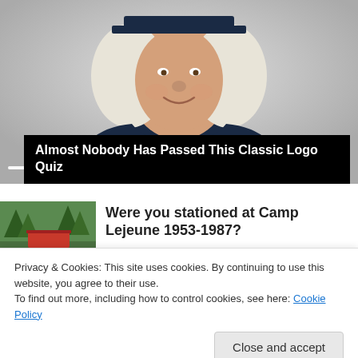[Figure (screenshot): Video player showing an illustrated colonial-era figure wearing a dark navy coat and white wig/cravat. Media controls (skip back, pause, skip forward) visible, with a progress bar. A black overlay title box at bottom left reads 'Almost Nobody Has Passed This Classic Logo Quiz'.]
Almost Nobody Has Passed This Classic Logo Quiz
[Figure (photo): Thumbnail photo of Camp Lejeune sign with trees in background]
Were you stationed at Camp Lejeune 1953-1987?
Privacy & Cookies: This site uses cookies. By continuing to use this website, you agree to their use.
To find out more, including how to control cookies, see here: Cookie Policy
Close and accept
Companies